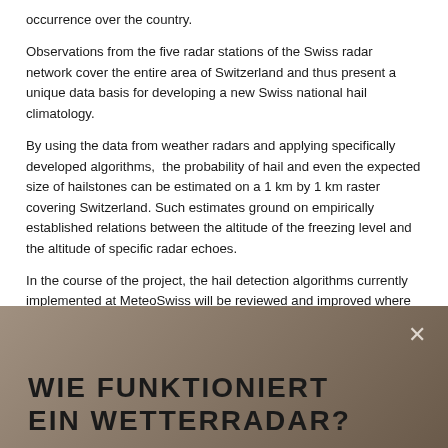occurrence over the country.
Observations from the five radar stations of the Swiss radar network cover the entire area of Switzerland and thus present a unique data basis for developing a new Swiss national hail climatology.
By using the data from weather radars and applying specifically developed algorithms,  the probability of hail and even the expected size of hailstones can be estimated on a 1 km by 1 km raster covering Switzerland. Such estimates ground on empirically established relations between the altitude of the freezing level and the altitude of specific radar echoes.
In the course of the project, the hail detection algorithms currently implemented at MeteoSwiss will be reviewed and improved where possible. This will provide a new generation of radar data for the statistical estimation of  climatological frequencies and intensities of hail storms.
[Figure (screenshot): Video thumbnail with dark brownish-grey gradient background showing a close button (×) in the top right corner and large bold white/dark text reading 'WIE FUNKTIONIERT EIN WETTERRADAR?' partially visible at the bottom]